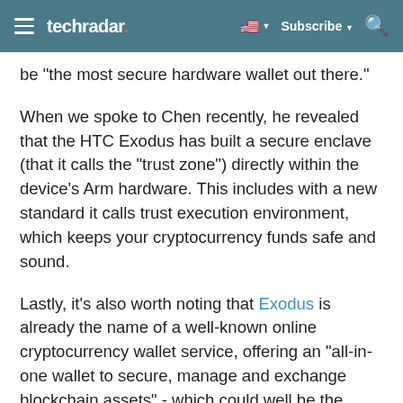techradar | Subscribe | Search
be "the most secure hardware wallet out there."
When we spoke to Chen recently, he revealed that the HTC Exodus has built a secure enclave (that it calls the "trust zone") directly within the device's Arm hardware. This includes with a new standard it calls trust execution environment, which keeps your cryptocurrency funds safe and sound.
Lastly, it's also worth noting that Exodus is already the name of a well-known online cryptocurrency wallet service, offering an "all-in-one wallet to secure, manage and exchange blockchain assets" - which could well be the backbone of HTC's new approach.